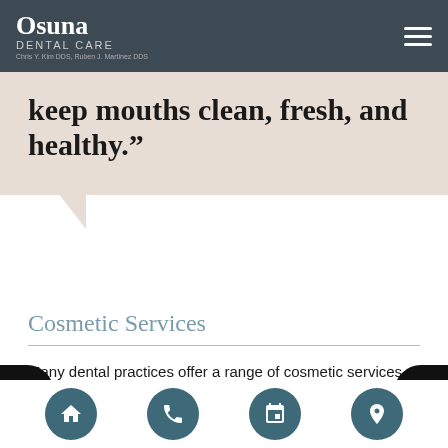Osuna Dental Care — Chris Y. Kim DDS, Ruben J. Martinez DDS
keep mouths clean, fresh, and healthy.”
Cosmetic Services
Many dental practices offer a range of cosmetic services, including teeth whitening, tooth replacements, and gum reshaping or contouring. Today, many patients are eager to achieve a brighter smile. Professional